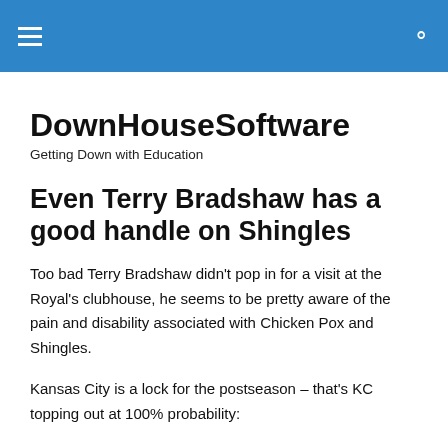DownHouseSoftware — navigation bar
DownHouseSoftware
Getting Down with Education
Even Terry Bradshaw has a good handle on Shingles
Too bad Terry Bradshaw didn't pop in for a visit at the Royal's clubhouse, he seems to be pretty aware of the pain and disability associated with Chicken Pox and Shingles.
Kansas City is a lock for the postseason – that's KC topping out at 100% probability: